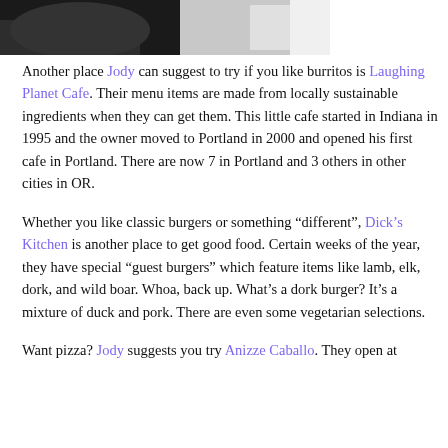[Figure (photo): Partial photo at top of page showing a dark background with light areas, cropped at bottom]
Another place Jody can suggest to try if you like burritos is Laughing Planet Cafe. Their menu items are made from locally sustainable ingredients when they can get them. This little cafe started in Indiana in 1995 and the owner moved to Portland in 2000 and opened his first cafe in Portland. There are now 7 in Portland and 3 others in other cities in OR.
Whether you like classic burgers or something “different”, Dick’s Kitchen is another place to get good food. Certain weeks of the year, they have special “guest burgers” which feature items like lamb, elk, dork, and wild boar. Whoa, back up. What’s a dork burger? It’s a mixture of duck and pork. There are even some vegetarian selections.
Want pizza? Jody suggests you try Anizze Caballo. They open at